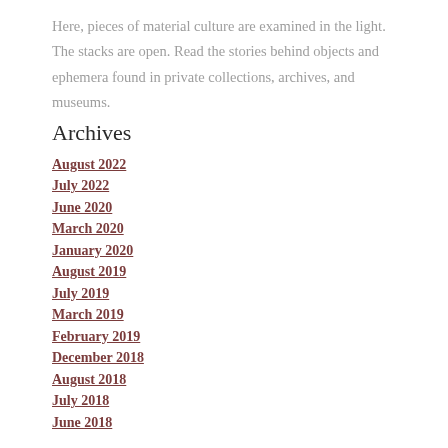Here, pieces of material culture are examined in the light. The stacks are open. Read the stories behind objects and ephemera found in private collections, archives, and museums.
Archives
August 2022
July 2022
June 2020
March 2020
January 2020
August 2019
July 2019
March 2019
February 2019
December 2018
August 2018
July 2018
June 2018